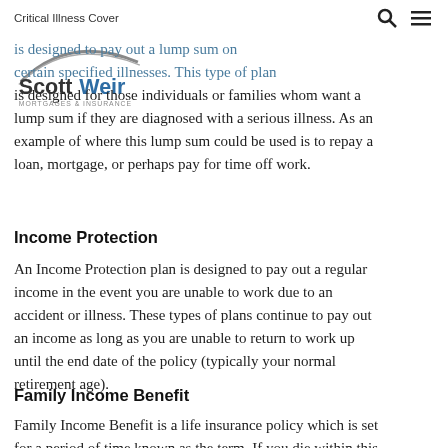Critical Illness Cover
[Figure (logo): Scott Weir Mortgages & Insurance logo with arc graphic]
...is designed to pay out a lump sum on certain specified illnesses. This type of plan is designed for those individuals or families whom want a lump sum if they are diagnosed with a serious illness. As an example of where this lump sum could be used is to repay a loan, mortgage, or perhaps pay for time off work.
Income Protection
An Income Protection plan is designed to pay out a regular income in the event you are unable to work due to an accident or illness. These types of plans continue to pay out an income as long as you are unable to return to work up until the end date of the policy (typically your normal retirement age).
Family Income Benefit
Family Income Benefit is a life insurance policy which is set for a period of time known as the term. If you die within this